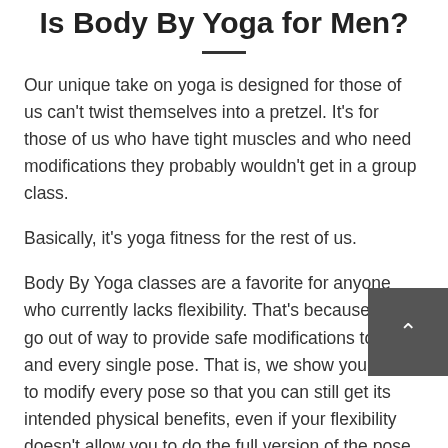Is Body By Yoga for Men?
Our unique take on yoga is designed for those of us can't twist themselves into a pretzel. It's for those of us who have tight muscles and who need modifications they probably wouldn't get in a group class.
Basically, it's yoga fitness for the rest of us.
Body By Yoga classes are a favorite for anyone who currently lacks flexibility. That's because we go out of way to provide safe modifications to each and every single pose. That is, we show you how to modify every pose so that you can still get its intended physical benefits, even if your flexibility doesn't allow you to do the full version of the pose. These